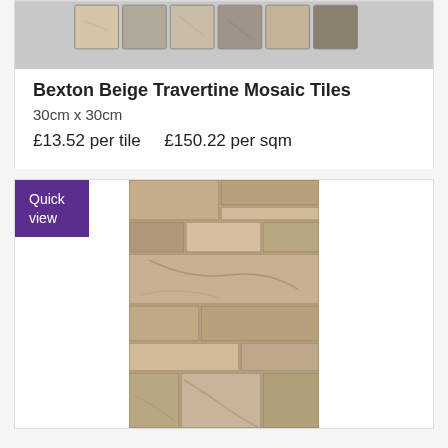[Figure (photo): Bexton Beige Travertine Mosaic Tiles product image showing small square mosaic tiles in beige and grey tones arranged in a grid]
Bexton Beige Travertine Mosaic Tiles
30cm x 30cm
£13.52 per tile    £150.22 per sqm
[Figure (photo): Stone tile product image showing a tall narrow tile with a mosaic of beige, cream and brown natural stone pieces in rectangular shapes, with a 'Quick view' purple button overlay]
Quick view